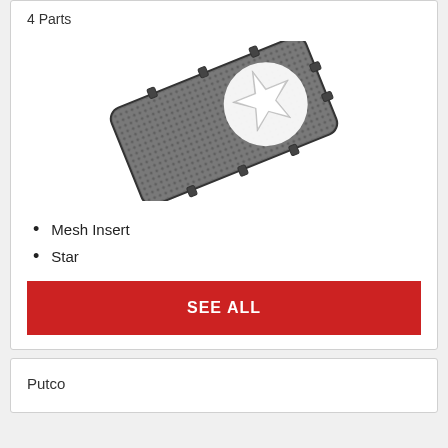4 Parts
[Figure (photo): A rectangular mesh grille insert with mounting tabs, tilted diagonally, featuring a white military star design on a dark grey mesh background.]
Mesh Insert
Star
SEE ALL
Putco